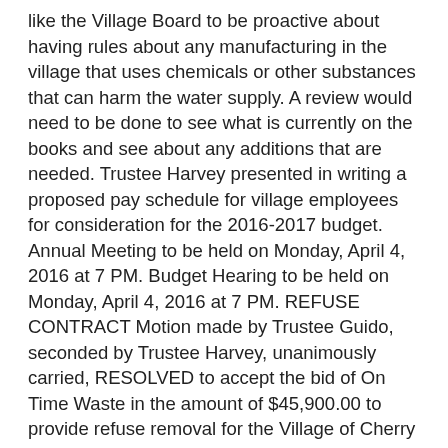like the Village Board to be proactive about having rules about any manufacturing in the village that uses chemicals or other substances that can harm the water supply. A review would need to be done to see what is currently on the books and see about any additions that are needed. Trustee Harvey presented in writing a proposed pay schedule for village employees for consideration for the 2016-2017 budget. Annual Meeting to be held on Monday, April 4, 2016 at 7 PM. Budget Hearing to be held on Monday, April 4, 2016 at 7 PM. REFUSE CONTRACT Motion made by Trustee Guido, seconded by Trustee Harvey, unanimously carried, RESOLVED to accept the bid of On Time Waste in the amount of $45,900.00 to provide refuse removal for the Village of Cherry Valley for the time period of June 1, 2016 to May 31, 2017. CEMETERY DONATION A donation in the amount of $200.00 was received from Alice Yerdon, Loretta Martin and Brenda and Edward Bennett in memory of Reginald VanAlstine son of Phyllis VanAlstine for use in the cemetery. Motion made by Trustee Harvey, seconded by Trustee Guido, unanimously carried RESOLVED to place the $200.00 donation into the General Fund to be used toward purchasing the Lawn Mower. AUDIT OF CLAIMS After